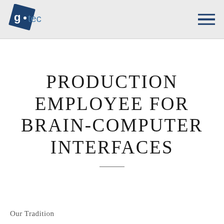[Figure (logo): g.tec logo: blue rotated square with white 'g' and dot, followed by 'tec' in light blue text]
PRODUCTION EMPLOYEE FOR BRAIN-COMPUTER INTERFACES
Our Tradition